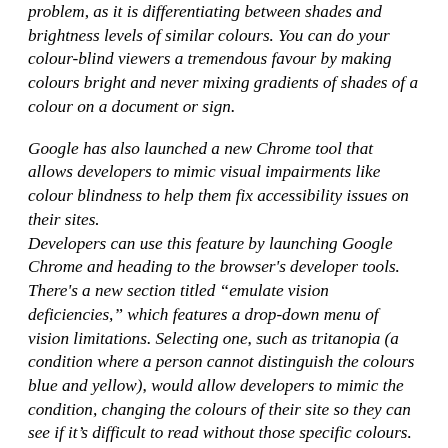problem, as it is differentiating between shades and brightness levels of similar colours. You can do your colour-blind viewers a tremendous favour by making colours bright and never mixing gradients of shades of a colour on a document or sign.
Google has also launched a new Chrome tool that allows developers to mimic visual impairments like colour blindness to help them fix accessibility issues on their sites.
Developers can use this feature by launching Google Chrome and heading to the browser's developer tools. There's a new section titled "emulate vision deficiencies," which features a drop-down menu of vision limitations. Selecting one, such as tritanopia (a condition where a person cannot distinguish the colours blue and yellow), would allow developers to mimic the condition, changing the colours of their site so they can see if it's difficult to read without those specific colours.